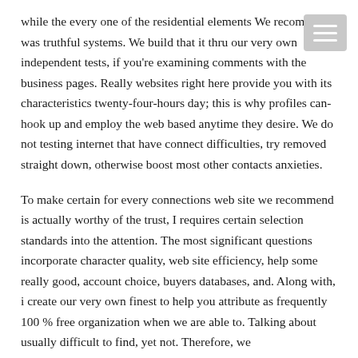while the every one of the residential elements We recommends was truthful systems. We build that it thru our very own independent tests, if you're examining comments with the business pages. Really websites right here provide you with its characteristics twenty-four-hours day; this is why profiles can-hook up and employ the web based anytime they desire. We do not testing internet that have connect difficulties, try removed straight down, otherwise boost most other contacts anxieties.
To make certain for every connections web site we recommend is actually worthy of the trust, I requires certain selection standards into the attention. The most significant questions incorporate character quality, web site efficiency, help some really good, account choice, buyers databases, and. Along with, i create our very own finest to help you attribute as frequently 100 % free organization when we are able to. Talking about usually difficult to find, yet not. Therefore, we